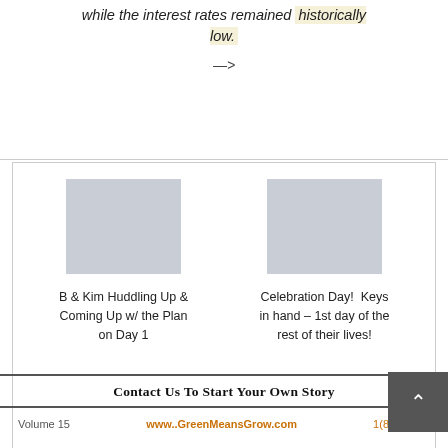while the interest rates remained historically low.
—>
[Figure (photo): Placeholder image (gray square) for B & Kim Huddling Up & Coming Up w/ the Plan on Day 1]
B & Kim Huddling Up & Coming Up w/ the Plan on Day 1
[Figure (photo): Placeholder image (gray square) for Celebration Day! Keys in hand – 1st day of the rest of their lives!]
Celebration Day!  Keys in hand – 1st day of the rest of their lives!
Contact Us To Start Your Own Story
Volume 15    www..GreenMeansGrow.com    1(858) 863-